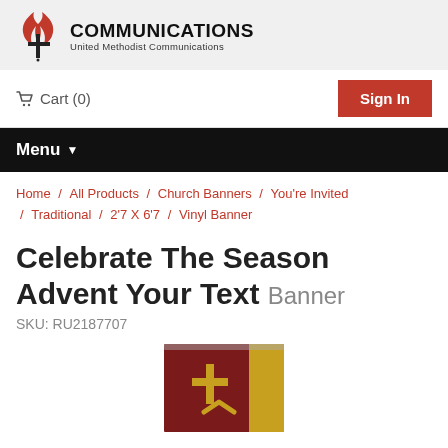[Figure (logo): United Methodist Communications logo with red flame/cross icon and bold COMMUNICATIONS text with United Methodist Communications subtitle]
Cart (0)
Sign In
Menu
Home / All Products / Church Banners / You're Invited / Traditional / 2'7 X 6'7 / Vinyl Banner
Celebrate The Season Advent Your Text Banner
SKU: RU2187707
[Figure (photo): Partial view of a dark red/maroon church banner with gold cross symbol, shown at bottom of page]